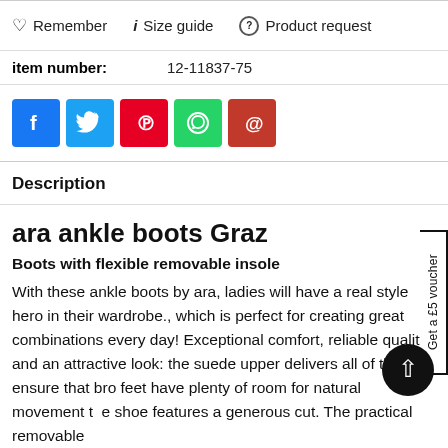Remember  i  Size guide  (?)  Product request
item number:    12-11837-75
[Figure (infographic): Social sharing buttons: Facebook (blue), Twitter (light blue), Pinterest (red), WhatsApp (green), Email (dark red)]
Description
ara ankle boots Graz
Boots with flexible removable insole
With these ankle boots by ara, ladies will have a real style hero in their wardrobe., which is perfect for creating great combinations every day! Exceptional comfort, reliable quality and an attractive look: the suede upper delivers all of this. To ensure that bro feet have plenty of room for natural movement t e shoe features a generous cut. The practical removable